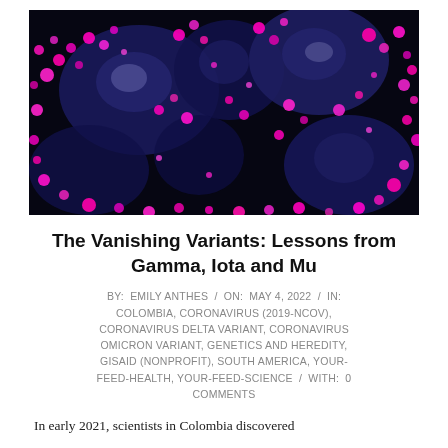[Figure (photo): Electron microscopy image of coronavirus particles shown with false color — dark blue/navy cell surfaces covered with bright magenta/pink coronavirus spike proteins against a black background.]
The Vanishing Variants: Lessons from Gamma, Iota and Mu
BY: EMILY ANTHES / ON: MAY 4, 2022 / IN: COLOMBIA, CORONAVIRUS (2019-NCOV), CORONAVIRUS DELTA VARIANT, CORONAVIRUS OMICRON VARIANT, GENETICS AND HEREDITY, GISAID (NONPROFIT), SOUTH AMERICA, YOUR-FEED-HEALTH, YOUR-FEED-SCIENCE / WITH: 0 COMMENTS
In early 2021, scientists in Colombia discovered